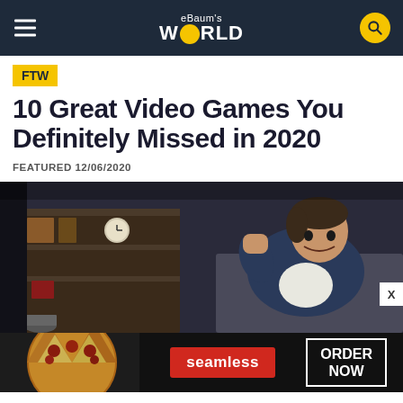eBaum's World
FTW
10 Great Video Games You Definitely Missed in 2020
FEATURED 12/06/2020
[Figure (photo): Young man sitting on a couch in a dark room, smiling and raising his fist in excitement while playing video games. A bookshelf with a clock and items is visible in the background.]
[Figure (other): Seamless food delivery advertisement banner showing pizza slices on the left, a red Seamless button in the center, and an 'ORDER NOW' button on the right, all on a dark background.]